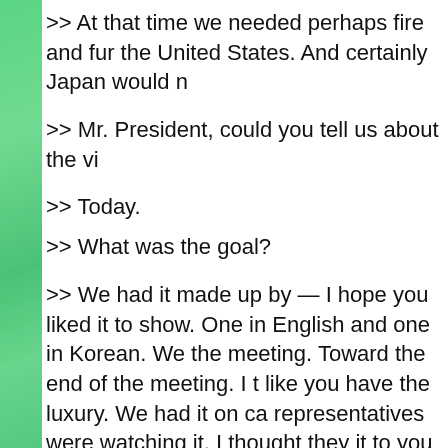>> At that time we needed perhaps fire and fur... the United States. And certainly Japan would n...
>> Mr. President, could you tell us about the vi...
>> Today.
>> What was the goal?
>> We had it made up by — I hope you liked it... to show. One in English and one in Korean. We... the meeting. Toward the end of the meeting. I t... like you have the luxury. We had it on ca... representatives were watching it. I thought they... it to you because that is the future. That could... alternative. It is just not good. I showed it beca...